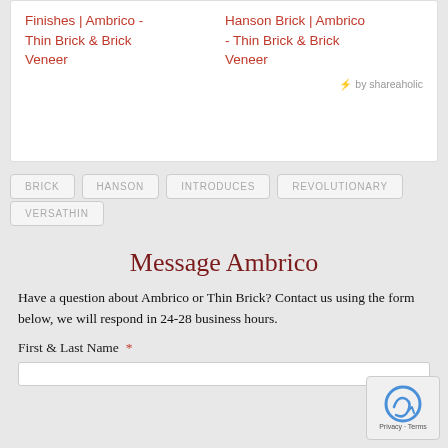Finishes | Ambrico - Thin Brick & Brick Veneer
Hanson Brick | Ambrico - Thin Brick & Brick Veneer
by shareaholic
BRICK
HANSON
INTRODUCES
REVOLUTIONARY
VERSATHIN
Message Ambrico
Have a question about Ambrico or Thin Brick? Contact us using the form below, we will respond in 24-28 business hours.
First & Last Name *